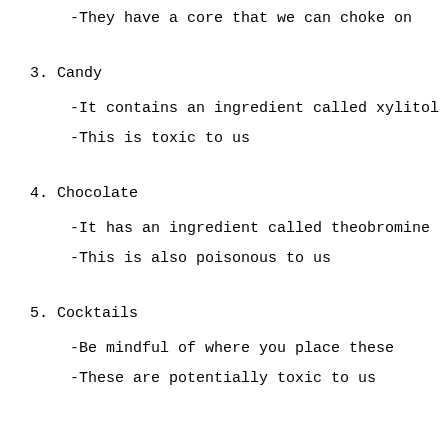-They have a core that we can choke on
3. Candy
-It contains an ingredient called xylitol
-This is toxic to us
4. Chocolate
-It has an ingredient called theobromine
-This is also poisonous to us
5. Cocktails
-Be mindful of where you place these
-These are potentially toxic to us